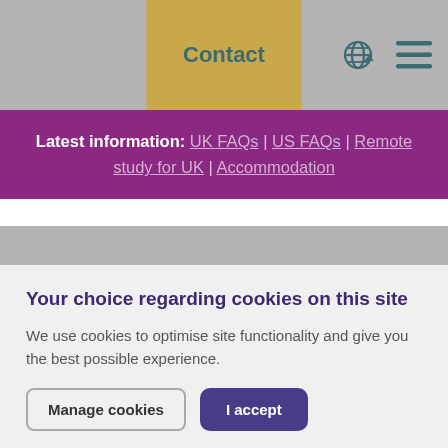Contact
Latest information: UK FAQs | US FAQs | Remote study for UK | Accommodation
Your choice regarding cookies on this site
We use cookies to optimise site functionality and give you the best possible experience.
Manage cookies | I accept